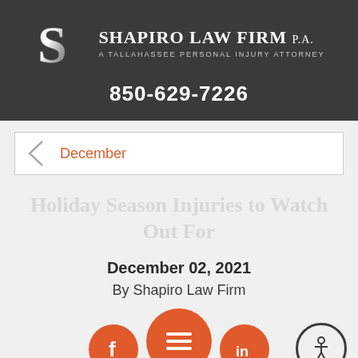[Figure (logo): Shapiro Law Firm P.A. logo with metallic S and firm name]
850-629-7226
December
Holiday Season Injuries to Watch Out For
December 02, 2021
By Shapiro Law Firm
[Figure (infographic): Social media icons: Facebook, hamburger menu, LinkedIn; plus accessibility button]